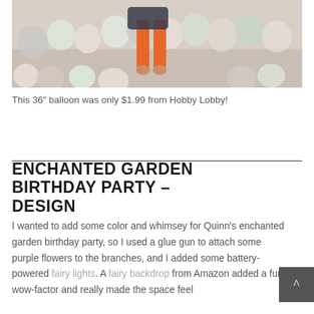[Figure (photo): Child standing among pastel balloons on a wood floor; child wearing orange pants, balloon backdrop with white, pink, mint, and sage green balloons]
This 36" balloon was only $1.99 from Hobby Lobby!
ENCHANTED GARDEN BIRTHDAY PARTY – DESIGN
I wanted to add some color and whimsey for Quinn's enchanted garden birthday party, so I used a glue gun to attach some purple flowers to the branches, and I added some battery-powered fairy lights. A fairy backdrop from Amazon added a fun wow-factor and really made the space feel